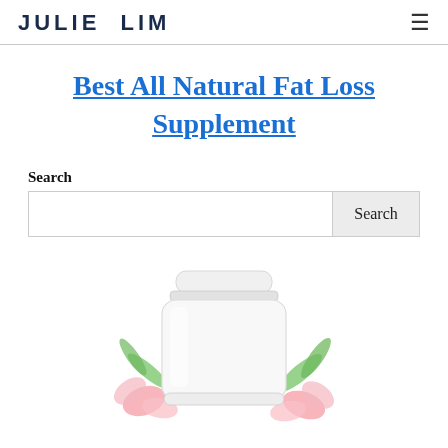JULIE LIM
Best All Natural Fat Loss Supplement
Search
[Figure (photo): White supplement bottle/jar with pink flowers and green leaves decoration, partially visible at bottom of page]